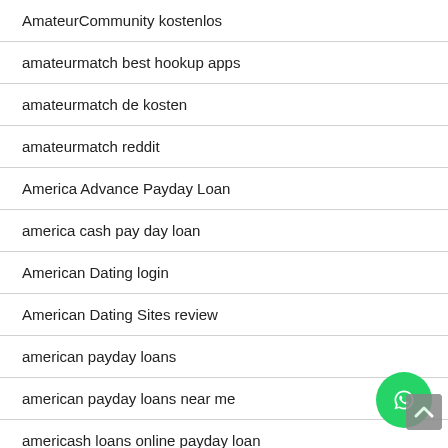AmateurCommunity kostenlos
amateurmatch best hookup apps
amateurmatch de kosten
amateurmatch reddit
America Advance Payday Loan
america cash pay day loan
American Dating login
American Dating Sites review
american payday loans
american payday loans near me
americash loans online payday loan
americash loans payday loans
Americash Payday Loans
[Figure (other): WhatsApp contact button (green circle with phone icon) and scroll-to-top button]